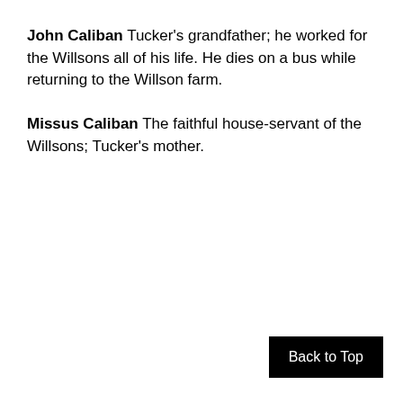John Caliban Tucker's grandfather; he worked for the Willsons all of his life. He dies on a bus while returning to the Willson farm.
Missus Caliban The faithful house-servant of the Willsons; Tucker's mother.
Back to Top